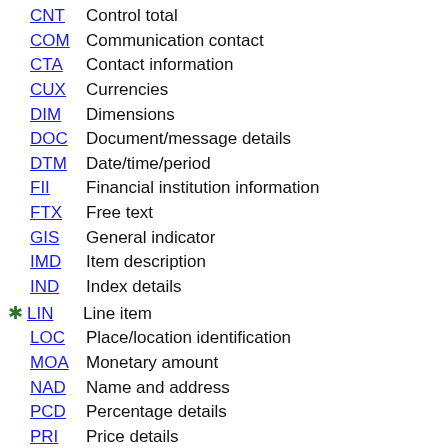CNT Control total
COM Communication contact
CTA Contact information
CUX Currencies
DIM Dimensions
DOC Document/message details
DTM Date/time/period
FII Financial institution information
FTX Free text
GIS General indicator
IMD Item description
IND Index details
* LIN Line item
LOC Place/location identification
MOA Monetary amount
NAD Name and address
PCD Percentage details
PRI Price details
QTY Quantity
RCS Requirements and conditions
REF Reference